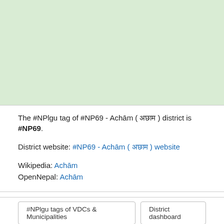[Figure (map): Light green map area showing district map of Achām, Nepal]
The #NPlgu tag of #NP69 - Achām ( अछाम ) district is #NP69.
District website: #NP69 - Achām ( अछाम ) website
Wikipedia: Achām
OpenNepal: Achām
#NPlgu tags of VDCs & Municipalities
District dashboard